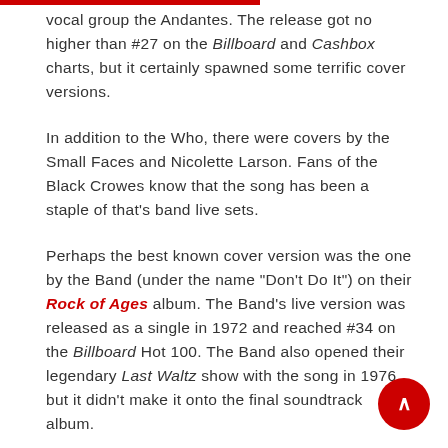vocal group the Andantes. The release got no higher than #27 on the Billboard and Cashbox charts, but it certainly spawned some terrific cover versions.
In addition to the Who, there were covers by the Small Faces and Nicolette Larson. Fans of the Black Crowes know that the song has been a staple of that's band live sets.
Perhaps the best known cover version was the one by the Band (under the name "Don't Do It") on their Rock of Ages album. The Band's live version was released as a single in 1972 and reached #34 on the Billboard Hot 100. The Band also opened their legendary Last Waltz show with the song in 1976, but it didn't make it onto the final soundtrack album.